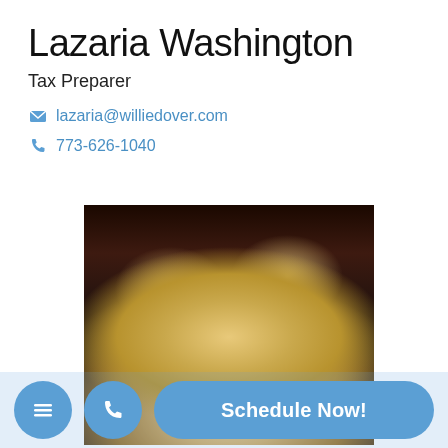Lazaria Washington
Tax Preparer
lazaria@williedover.com
773-626-1040
[Figure (photo): Headshot photo of Lazaria Washington showing top of head with short blonde hair against dark background]
Schedule Now!